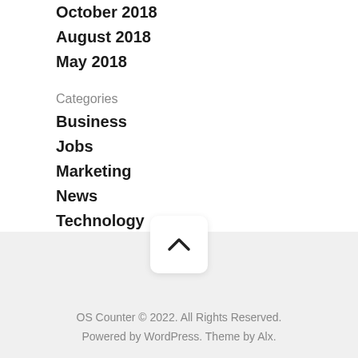October 2018
August 2018
May 2018
Categories
Business
Jobs
Marketing
News
Technology
OS Counter © 2022. All Rights Reserved. Powered by WordPress. Theme by Alx.